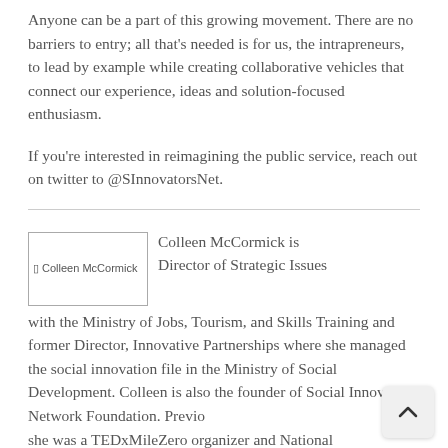Anyone can be a part of this growing movement. There are no barriers to entry; all that's needed is for us, the intrapreneurs, to lead by example while creating collaborative vehicles that connect our experience, ideas and solution-focused enthusiasm.
If you're interested in reimagining the public service, reach out on twitter to @SInnovatorsNet.
[Figure (photo): Photo of Colleen McCormick (broken image placeholder)]
Colleen McCormick is Director of Strategic Issues with the Ministry of Jobs, Tourism, and Skills Training and former Director, Innovative Partnerships where she managed the social innovation file in the Ministry of Social Development. Colleen is also the founder of Social Innovators Network Foundation. Previously she was a TEDxMileZero organizer and National